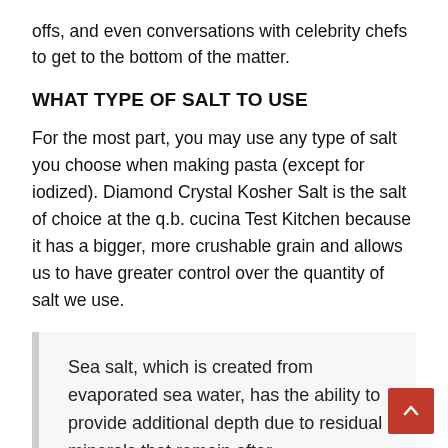offs, and even conversations with celebrity chefs to get to the bottom of the matter.
WHAT TYPE OF SALT TO USE
For the most part, you may use any type of salt you choose when making pasta (except for iodized). Diamond Crystal Kosher Salt is the salt of choice at the q.b. cucina Test Kitchen because it has a bigger, more crushable grain and allows us to have greater control over the quantity of salt we use.
Sea salt, which is created from evaporated sea water, has the ability to provide additional depth due to residual minerals that remain after